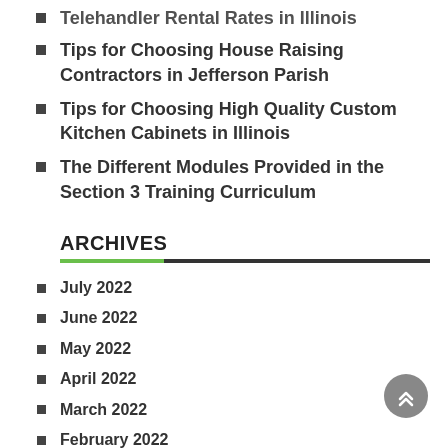Telehandler Rental Rates in Illinois
Tips for Choosing House Raising Contractors in Jefferson Parish
Tips for Choosing High Quality Custom Kitchen Cabinets in Illinois
The Different Modules Provided in the Section 3 Training Curriculum
ARCHIVES
July 2022
June 2022
May 2022
April 2022
March 2022
February 2022